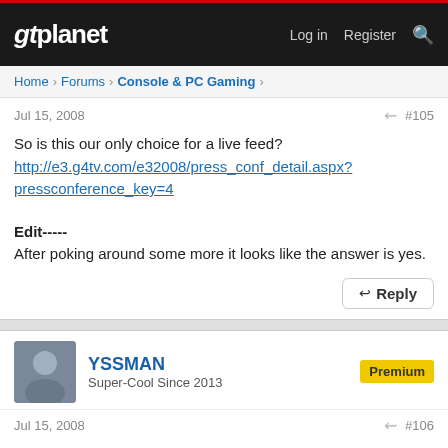gtplanet | Log in  Register
Home > Forums > Console & PC Gaming >
Jul 15, 2008  #105
So is this our only choice for a live feed?
http://e3.g4tv.com/e32008/press_conf_detail.aspx?pressconference_key=4

Edit-----
After poking around some more it looks like the answer is yes.
Reply
YSSMAN
Super-Cool Since 2013
Premium
Jul 15, 2008  #106